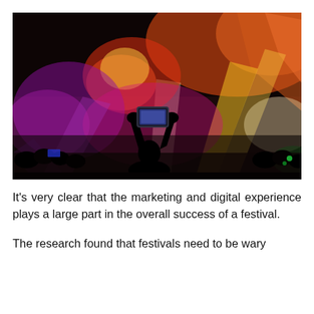[Figure (photo): Crowd at a music festival at night, silhouettes of people with raised hands, one person holding up a smartphone to record the stage. Stage lights in orange, yellow, pink, and purple illuminate the scene with dramatic beams.]
It's very clear that the marketing and digital experience plays a large part in the overall success of a festival.
The research found that festivals need to be wary